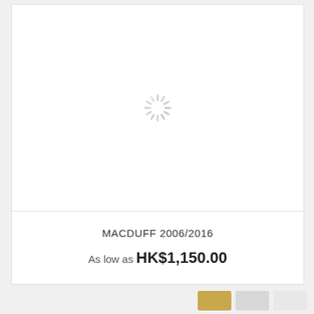[Figure (other): Loading spinner (animated circle of grey lines) centered in white product image area]
MACDUFF 2006/2016
As low as HK$1,150.00